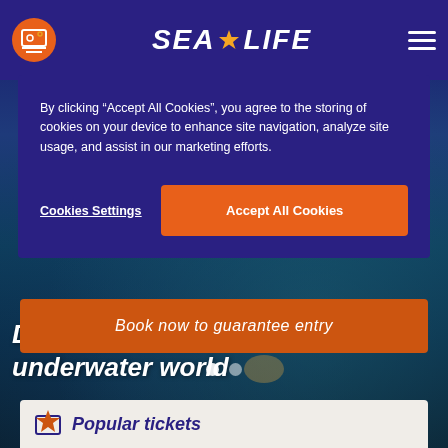[Figure (screenshot): SEA LIFE aquarium website screenshot showing header with logo, cookie consent banner, hero image with underwater scene, book now button, and popular tickets section]
By clicking “Accept All Cookies”, you agree to the storing of cookies on your device to enhance site navigation, analyze site usage, and assist in our marketing efforts.
Cookies Settings
Accept All Cookies
Discover an amazing underwater world
Book now to guarantee entry
Popular tickets